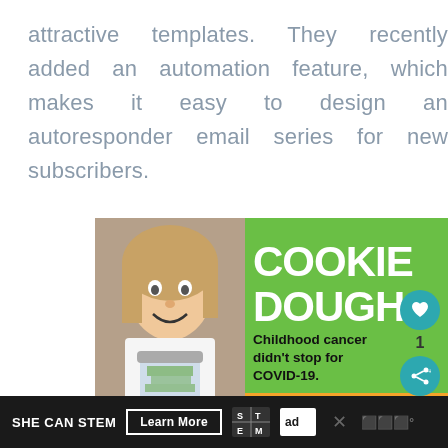attractive templates. They recently added an automation feature, which makes it easy to design an autoresponder email series for new subscribers.
[Figure (photo): Advertisement banner: 'COOKIE DOUGH - Childhood cancer didn't stop for COVID-19. LETS GET BAKING!' on a green background with a smiling girl holding a jar of money.]
SHE CAN STEM  Learn More